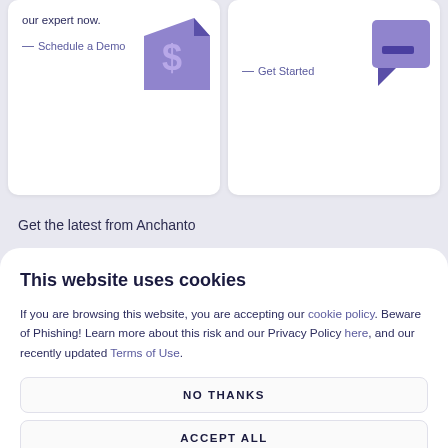our expert now.
— Schedule a Demo
— Get Started
Get the latest from Anchanto
This website uses cookies
If you are browsing this website, you are accepting our cookie policy. Beware of Phishing! Learn more about this risk and our Privacy Policy here, and our recently updated Terms of Use.
NO THANKS
ACCEPT ALL
MANAGE